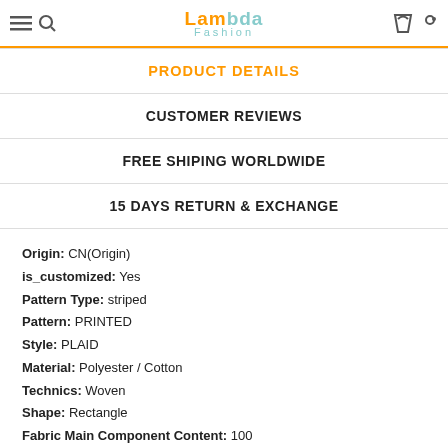LamBda Fashion
PRODUCT DETAILS
CUSTOMER REVIEWS
FREE SHIPING WORLDWIDE
15 DAYS RETURN & EXCHANGE
Origin: CN(Origin)
is_customized: Yes
Pattern Type: striped
Pattern: PRINTED
Style: PLAID
Material: Polyester / Cotton
Technics: Woven
Shape: Rectangle
Fabric Main Component Content: 100